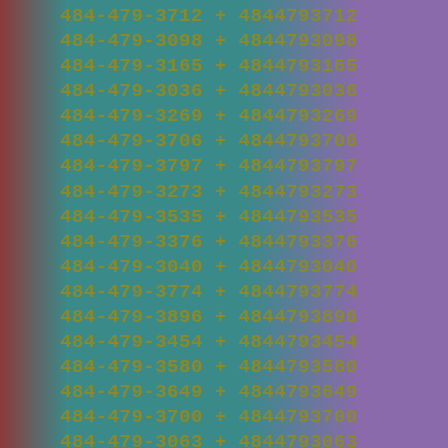484-479-3712 + 4844793712
484-479-3098 + 4844793098
484-479-3165 + 4844793165
484-479-3036 + 4844793036
484-479-3269 + 4844793269
484-479-3706 + 4844793706
484-479-3797 + 4844793797
484-479-3273 + 4844793273
484-479-3535 + 4844793535
484-479-3376 + 4844793376
484-479-3040 + 4844793040
484-479-3774 + 4844793774
484-479-3896 + 4844793896
484-479-3454 + 4844793454
484-479-3580 + 4844793580
484-479-3649 + 4844793649
484-479-3700 + 4844793700
484-479-3063 + 4844793063
484-479-3608 + 4844793608
484-479-3359 + 4844793359
484-479-3421 + 4844793421
484-479-3781 + 4844793781
484-479-3953 + 4844793953